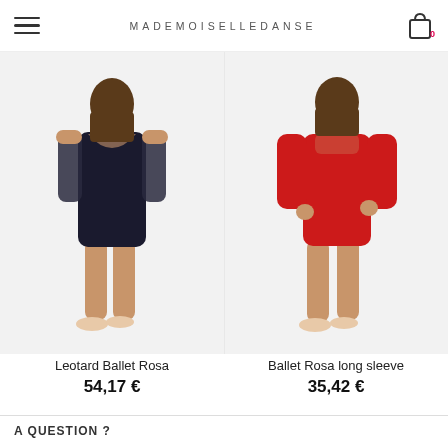MADEMOISELLEDANSE
[Figure (photo): Back view of a young dancer wearing a black lace-sleeved open-back ballet leotard with ballet shoes]
[Figure (photo): Front view of a young dancer wearing a red long-sleeve ballet leotard with ballet shoes]
Leotard Ballet Rosa
54,17 €
Ballet Rosa long sleeve
35,42 €
A QUESTION ?